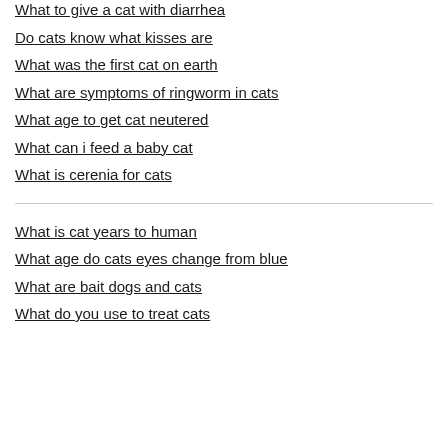What to give a cat with diarrhea
Do cats know what kisses are
What was the first cat on earth
What are symptoms of ringworm in cats
What age to get cat neutered
What can i feed a baby cat
What is cerenia for cats
What is cat years to human
What age do cats eyes change from blue
What are bait dogs and cats
What do you use to treat cats